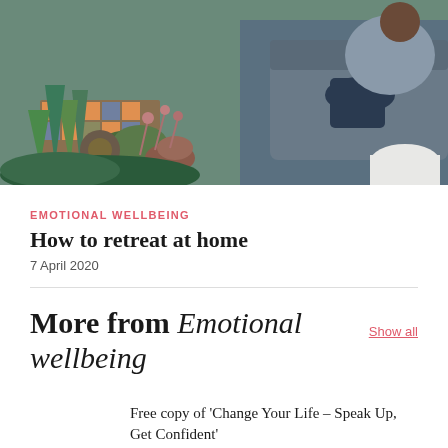[Figure (photo): Outdoor garden seating area with succulents and plants in foreground, person sitting on grey sofa in background, colourful mosaic table visible]
EMOTIONAL WELLBEING
How to retreat at home
7 April 2020
More from Emotional wellbeing
Show all
Free copy of ‘Change Your Life – Speak Up, Get Confident’